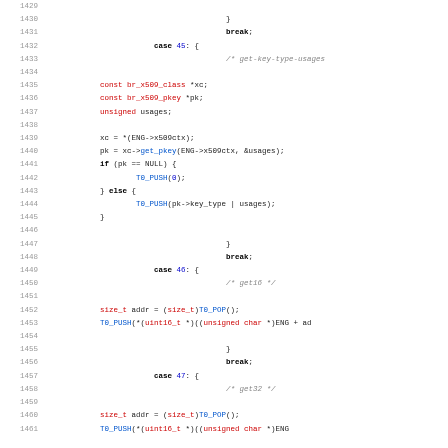Source code listing lines 1429-1461, C code with switch-case statements for get-key-type-usages, get16, get32